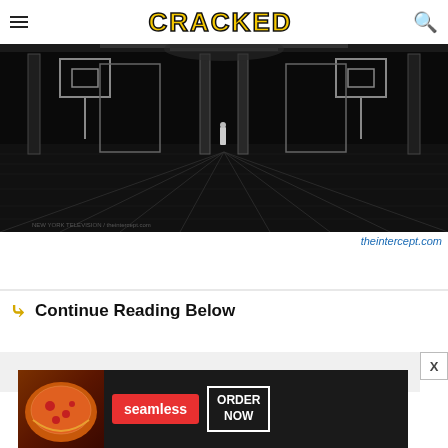CRACKED
[Figure (photo): Black and white photo of an empty arena or large indoor sports facility with basketball backboards visible, shot from floor level with a lone figure standing in the distance. Symmetrical architectural composition with columns and ceiling lights.]
theintercept.com
Continue Reading Below
[Figure (screenshot): Advertisement banner for Seamless food delivery service showing pizza image on the left, red Seamless logo button in center, and ORDER NOW button on the right against a dark background.]